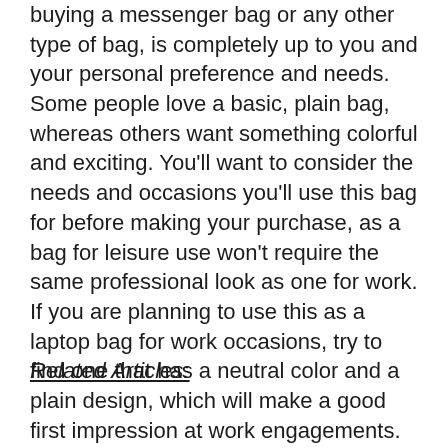choosing a style of backpack, just like buying a messenger bag or any other type of bag, is completely up to you and your personal preference and needs. Some people love a basic, plain bag, whereas others want something colorful and exciting. You'll want to consider the needs and occasions you'll use this bag for before making your purchase, as a bag for leisure use won't require the same professional look as one for work. If you are planning to use this as a laptop bag for work occasions, try to find one that has a neutral color and a plain design, which will make a good first impression at work engagements.
Related Articles: